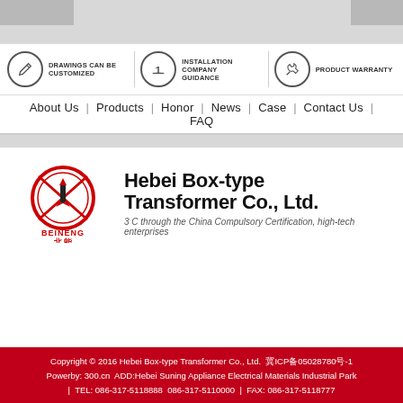[Figure (screenshot): Gray top browser chrome area with two gray tabs]
[Figure (infographic): Three icon groups: DRAWINGS CAN BE CUSTOMIZED (pen icon), INSTALLATION COMPANY GUIDANCE (number 1 icon), PRODUCT WARRANTY (wrench icon)]
About Us | Products | Honor | News | Case | Contact Us | FAQ
[Figure (logo): Beineng (北能) company logo with red circular design and rocket]
Hebei Box-type Transformer Co., Ltd.
3 C through the China Compulsory Certification, high-tech enterprises
Copyright © 2016 Hebei Box-type Transformer Co., Ltd.  冀ICP备05028780号-1 Powerby: 300.cn  ADD:Hebei Suning Appliance Electrical Materials Industrial Park | TEL: 086-317-5118888  086-317-5110000 | FAX: 086-317-5118777